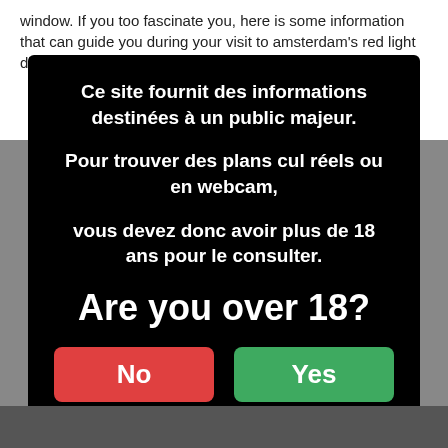window. If you too fascinate you, here is some information that can guide you during your visit to amsterdam's red light district.
[Figure (screenshot): Age verification modal dialog with black background. Contains French text: 'Ce site fournit des informations destinées à un public majeur. Pour trouver des plans cul réels ou en webcam, vous devez donc avoir plus de 18 ans pour le consulter.' Then large white text: 'Are you over 18?' with a red 'No' button and a green 'Yes' button.]